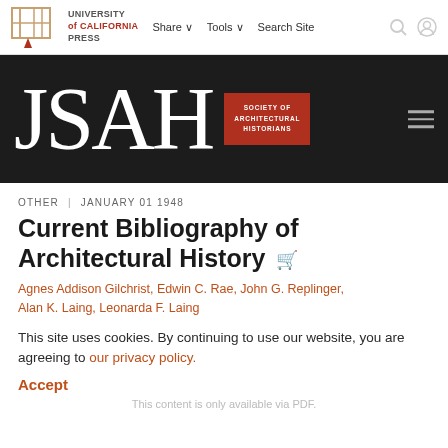[Figure (logo): University of California Press logo with navigation bar showing Share, Tools, Search Site links and search/user icons]
[Figure (logo): JSAH journal banner on dark background with Society of Architectural Historians red badge and hamburger menu]
OTHER | JANUARY 01 1948
Current Bibliography of Architectural History
Agnes Addison Gilchrist, Edwin C. Rae, John G. Replinger, Alan K. Laing, Leonarda F. Laing
This site uses cookies. By continuing to use our website, you are agreeing to our privacy policy.
Accept
This content is only available via PDF.